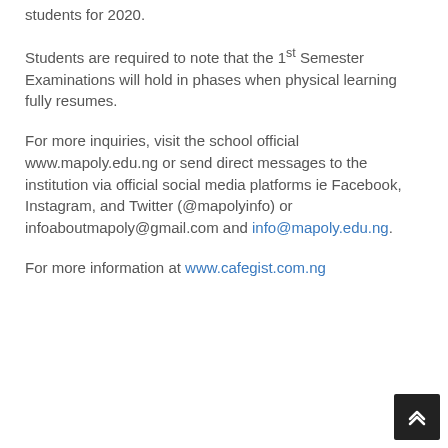students for 2020.
Students are required to note that the 1st Semester Examinations will hold in phases when physical learning fully resumes.
For more inquiries, visit the school official www.mapoly.edu.ng or send direct messages to the institution via official social media platforms ie Facebook, Instagram, and Twitter (@mapolyinfo) or infoaboutmapoly@gmail.com and info@mapoly.edu.ng.
For more information at www.cafegist.com.ng